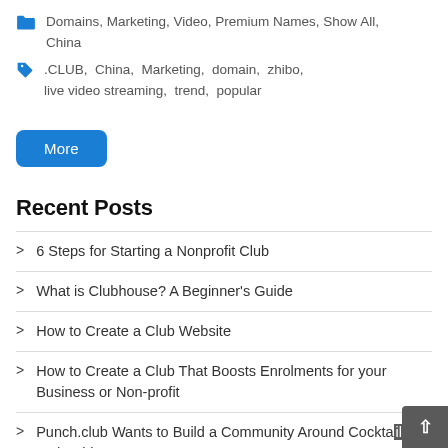Domains, Marketing, Video, Premium Names, Show All, China
.CLUB, China, Marketing, domain, zhibo, live video streaming, trend, popular
More
Recent Posts
6 Steps for Starting a Nonprofit Club
What is Clubhouse? A Beginner's Guide
How to Create a Club Website
How to Create a Club That Boosts Enrolments for your Business or Non-profit
Punch.club Wants to Build a Community Around Cocktails and Spirits